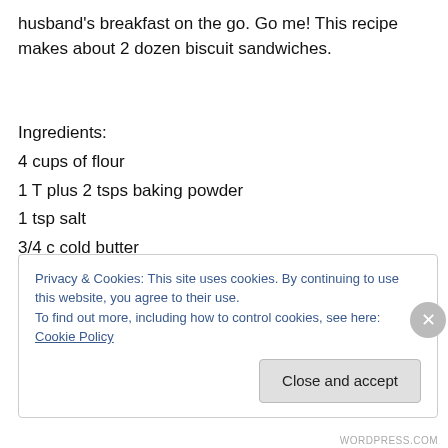husband's breakfast on the go. Go me! This recipe makes about 2 dozen biscuit sandwiches.
Ingredients:
4 cups of flour
1 T plus 2 tsps baking powder
1 tsp salt
3/4 c cold butter
Privacy & Cookies: This site uses cookies. By continuing to use this website, you agree to their use.
To find out more, including how to control cookies, see here: Cookie Policy
WORDPRESS.COM